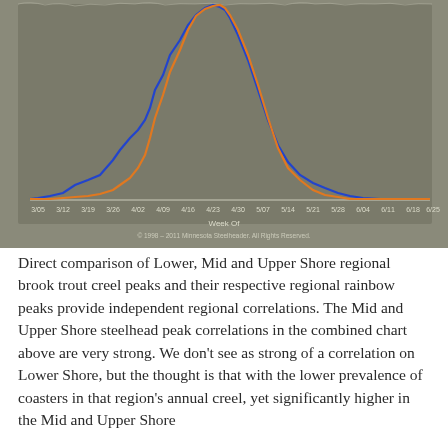[Figure (continuous-plot): Combined chart showing two overlapping distribution curves (blue and orange) plotted over weeks of the year (approximately 3/05 to 5/25). Both curves peak around weeks 4/23–4/30. The blue curve has a broader peak and a secondary shoulder around 3/26–4/02. The orange curve is narrower and slightly shifted. X-axis labeled 'Week Of'. Copyright notice: © 1998–2011 Minnesota Steelheader. All Rights Reserved.]
Direct comparison of Lower, Mid and Upper Shore regional brook trout creel peaks and their respective regional rainbow peaks provide independent regional correlations. The Mid and Upper Shore steelhead peak correlations in the combined chart above are very strong. We don't see as strong of a correlation on Lower Shore, but the thought is that with the lower prevalence of coasters in that region's annual creel, yet significantly higher in the Mid and Upper Shore